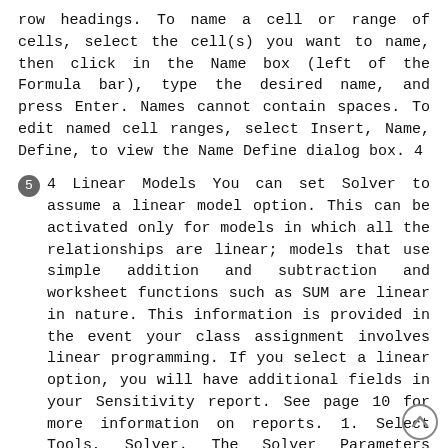row headings. To name a cell or range of cells, select the cell(s) you want to name, then click in the Name box (left of the Formula bar), type the desired name, and press Enter. Names cannot contain spaces. To edit named cell ranges, select Insert, Name, Define, to view the Name Define dialog box. 4
5 4 Linear Models You can set Solver to assume a linear model option. This can be activated only for models in which all the relationships are linear; models that use simple addition and subtraction and worksheet functions such as SUM are linear in nature. This information is provided in the event your class assignment involves linear programming. If you select a linear option, you will have additional fields in your Sensitivity report. See page 10 for more information on reports. 1. Select Tools, Solver. The Solver Parameters dialog box displays. 2. Enter the appropriate cells and constraints. 3. Click Options. The Solver Options dialog box displays. 4. Select Assume Linear Model and click OK. Note: You can set other options here, if desired. Consult Help for more information. Default settings are usually sufficient for most problems Jón Freyr Jóhannsson 5